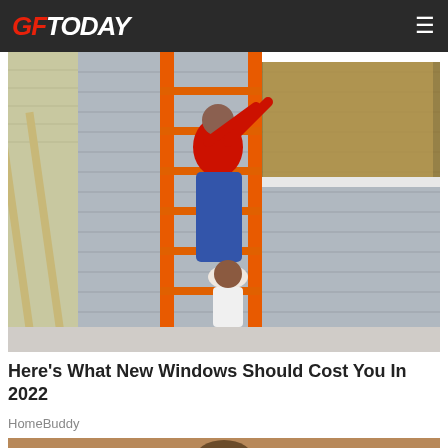GF TODAY
[Figure (photo): Workers on an orange ladder installing a window on the exterior of a house with gray siding. One person in a red shirt and jeans is climbing the ladder, and another person is crouching below.]
Here's What New Windows Should Cost You In 2022
HomeBuddy
[Figure (photo): Partial view of a second article image showing a tan/brown background with the top of a person's head visible.]